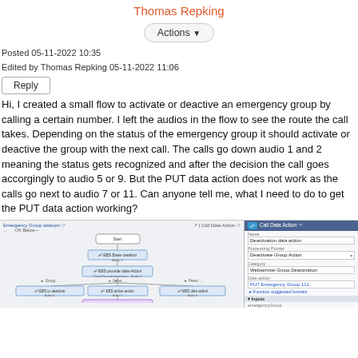Thomas Repking
Actions ▾
Posted 05-11-2022 10:35
Edited by Thomas Repking 05-11-2022 11:06
Reply
Hi, I created a small flow to activate or deactive an emergency group by calling a certain number. I left the audios in the flow to see the route the call takes. Depending on the status of the emergency group it should activate or deactive the group with the next call. The calls go down audio 1 and 2 meaning the status gets recognized and after the decision the call goes accorgingly to audio 5 or 9. But the PUT data action does not work as the calls go next to audio 7 or 11. Can anyone tell me, what I need to do to get the PUT data action working?
[Figure (screenshot): Screenshot of a call flow diagram on the left showing multiple connected audio/action blocks, and a 'Call Data Action' configuration panel on the right with fields for Name, Processing Pointer, Category, Data action, and other settings including inputs like 'emergencyGroup' and 'emergencyGroupStatus'.]